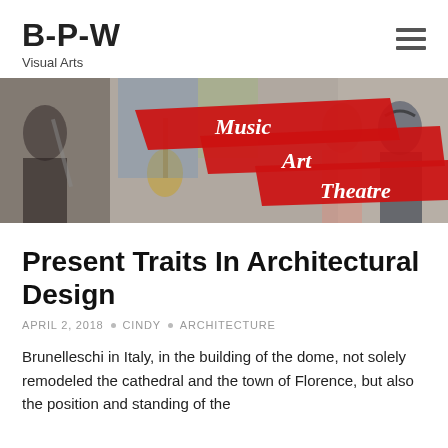B-P-W
Visual Arts
[Figure (illustration): Banner image with music, art and theatre collage background showing students playing instruments and performing, overlaid with red ribbon shapes containing cursive text: Music, Art, Theatre]
Present Traits In Architectural Design
APRIL 2, 2018 • CINDY • ARCHITECTURE
Brunelleschi in Italy, in the building of the dome, not solely remodeled the cathedral and the town of Florence, but also the position and standing of the